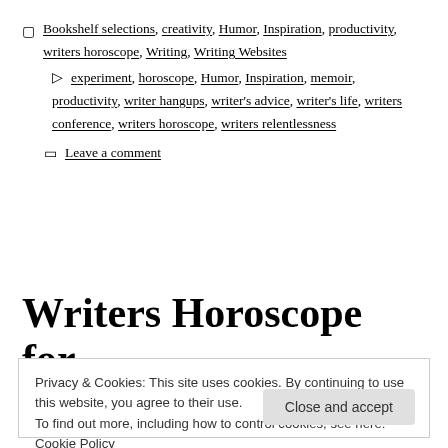Categories: Bookshelf selections, creativity, Humor, Inspiration, productivity, writers horoscope, Writing, Writing Websites
Tags: experiment, horoscope, Humor, Inspiration, memoir, productivity, writer hangups, writer's advice, writer's life, writers conference, writers horoscope, writers relentlessness
Leave a comment
Writers Horoscope for
Privacy & Cookies: This site uses cookies. By continuing to use this website, you agree to their use. To find out more, including how to control cookies, see here: Cookie Policy